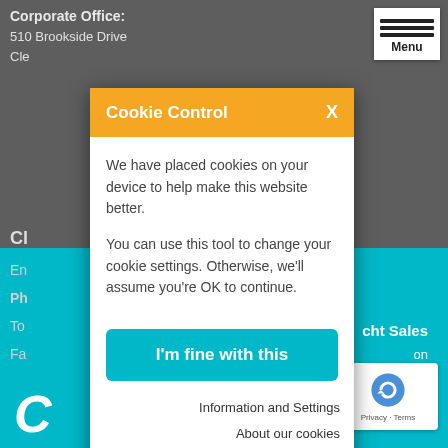Corporate Office:
510 Brookside Drive
Clearwater, FL 33764
[Figure (screenshot): Hamburger menu button with three horizontal bars and 'Menu' label]
Cl
En
Ph
To
Fa
[Figure (screenshot): Cookie Control modal dialog with orange header showing 'Cookie Control' and 'X' close button. Body text: 'We have placed cookies on your device to help make this website better. You can use this tool to change your cookie settings. Otherwise, we'll assume you're OK to continue.' Teal button 'I'm fine with this'. Links: 'Information and Settings' and 'About our cookies']
cht Sales
on
C
[Figure (logo): Compass/star logo watermark at bottom center]
[Figure (other): Google reCAPTCHA badge with Privacy and Terms links]